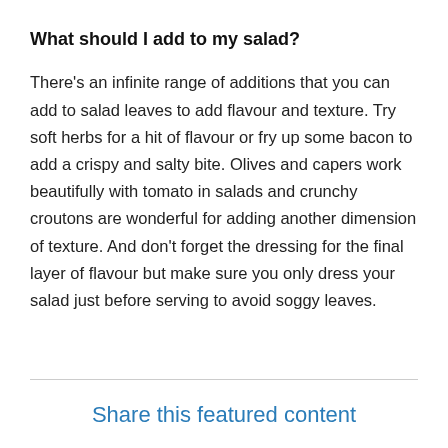What should I add to my salad?
There's an infinite range of additions that you can add to salad leaves to add flavour and texture. Try soft herbs for a hit of flavour or fry up some bacon to add a crispy and salty bite. Olives and capers work beautifully with tomato in salads and crunchy croutons are wonderful for adding another dimension of texture. And don't forget the dressing for the final layer of flavour but make sure you only dress your salad just before serving to avoid soggy leaves.
Share this featured content